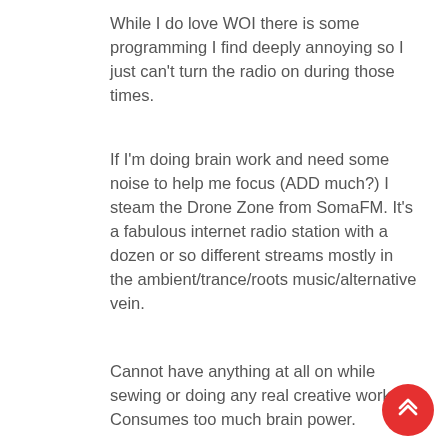While I do love WOI there is some programming I find deeply annoying so I just can't turn the radio on during those times.
If I'm doing brain work and need some noise to help me focus (ADD much?) I steam the Drone Zone from SomaFM. It's a fabulous internet radio station with a dozen or so different streams mostly in the ambient/trance/roots music/alternative vein.
Cannot have anything at all on while sewing or doing any real creative work. Consumes too much brain power.
[Figure (other): Red circular floating action button with double up-chevron arrow icon]